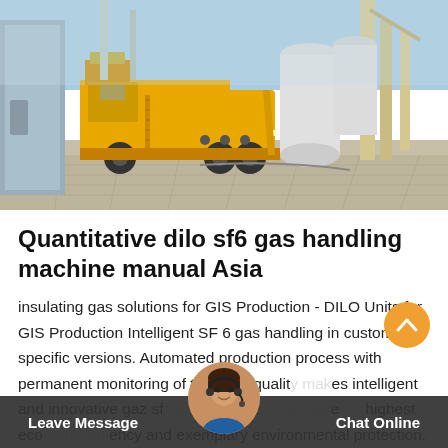[Figure (photo): Yellow truck/service vehicle with equipment mounted on it parked at an industrial site with large machinery and equipment in the background. Outdoor setting with blue sky.]
Quantitative dilo sf6 gas handling machine manual Asia
insulating gas solutions for GIS Production - DILO Units for GIS Production Intelligent SF 6 gas handling in customer-specific versions. Automated production process with permanent monitoring of the SF 6 quality makes intelligent and innovative gaz sf6 gas handling to achieve highest economic efficiency and exemplary environmental protection. We offer high